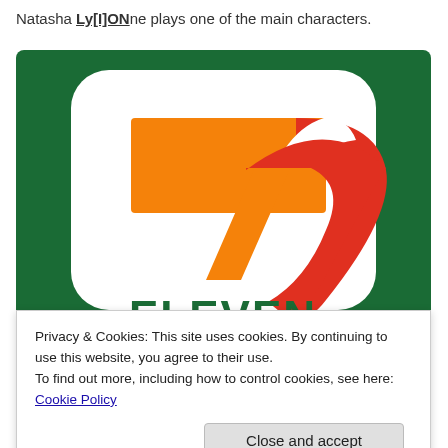Natasha Ly[I]ONne plays one of the main characters.
[Figure (logo): 7-Eleven store logo: large stylized number 7 in orange and red on a white rounded rectangle background with dark green border, with 'ELEVEN' text in dark green at the bottom]
Privacy & Cookies: This site uses cookies. By continuing to use this website, you agree to their use.
To find out more, including how to control cookies, see here: Cookie Policy
Close and accept